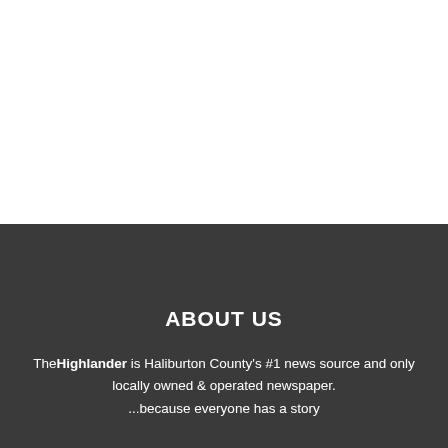ABOUT US
The Highlander is Haliburton County's #1 news source and only locally owned & operated newspaper. ...because everyone has a story